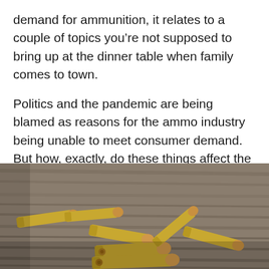demand for ammunition, it relates to a couple of topics you're not supposed to bring up at the dinner table when family comes to town.

Politics and the pandemic are being blamed as reasons for the ammo industry being unable to meet consumer demand. But how, exactly, do these things affect the supply chain?
[Figure (photo): Photograph of multiple brass and copper-tipped bullets/cartridges scattered on a wooden surface, shot from above at an angle. A circular menu button icon with three horizontal lines appears in the lower right of the image.]